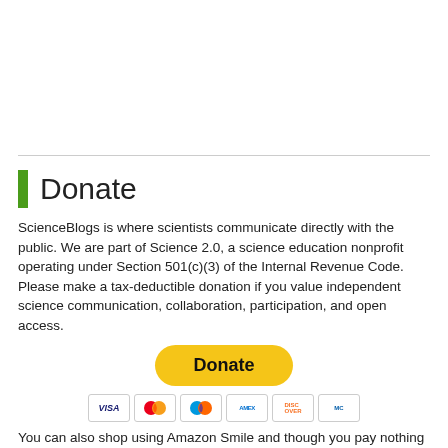Donate
ScienceBlogs is where scientists communicate directly with the public. We are part of Science 2.0, a science education nonprofit operating under Section 501(c)(3) of the Internal Revenue Code. Please make a tax-deductible donation if you value independent science communication, collaboration, participation, and open access.
[Figure (other): PayPal Donate button with payment card icons (Visa, Mastercard, Maestro, American Express, Discover, and another card)]
You can also shop using Amazon Smile and though you pay nothing more we get a tiny something.